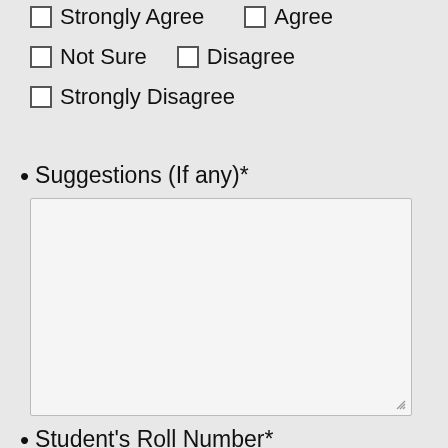Strongly Agree   Agree
Not Sure   Disagree
Strongly Disagree
Suggestions (If any)*
[Figure (other): Large empty text area input box for suggestions]
Student's Roll Number*